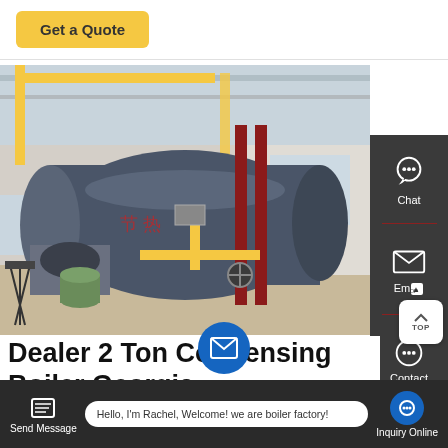Get a Quote
[Figure (photo): Industrial gas/oil-fired fire tube boiler (large cylindrical steel vessel, dark grey/blue) installed in a factory building with yellow pipe framework above and red pipe columns. Camera tripod visible on left side. Clean polished concrete floor.]
Dealer 2 Ton Condensing Boiler Georgia
Dealer 20t Diesel Fired Boiler Commercial Georgia, fire
Hello, I'm Rachel, Welcome! we are boiler factory!
Send Message
Inquiry Online